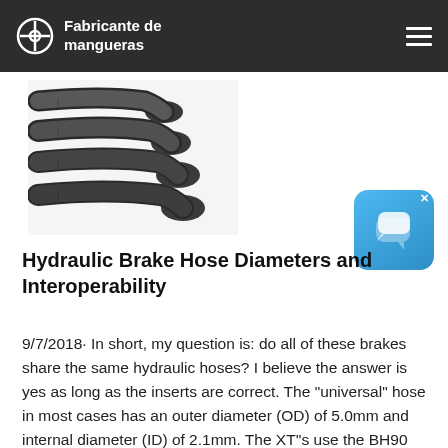Fabricante de mangueras
[Figure (photo): Stack of black hydraulic brake hoses photographed against a white background]
[Figure (other): Blue chat/messaging app icon widget with speech bubble icons and an X close button]
Hydraulic Brake Hose Diameters and Interoperability
9/7/2018· In short, my question is: do all of these brakes share the same hydraulic hoses? I believe the answer is yes as long as the inserts are correct. The "universal" hose in most cases has an outer diameter (OD) of 5.0mm and internal diameter (ID) of 2.1mm. The XT''s use the BH90 hose, which has an OD of 5.0mm and ID of 2.1mm.